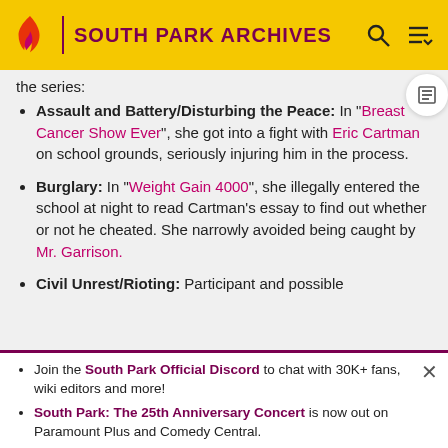South Park Archives
the series:
Assault and Battery/Disturbing the Peace: In "Breast Cancer Show Ever", she got into a fight with Eric Cartman on school grounds, seriously injuring him in the process.
Burglary: In "Weight Gain 4000", she illegally entered the school at night to read Cartman's essay to find out whether or not he cheated. She narrowly avoided being caught by Mr. Garrison.
Civil Unrest/Rioting: Participant and possible
Join the South Park Official Discord to chat with 30K+ fans, wiki editors and more!
South Park: The 25th Anniversary Concert is now out on Paramount Plus and Comedy Central.